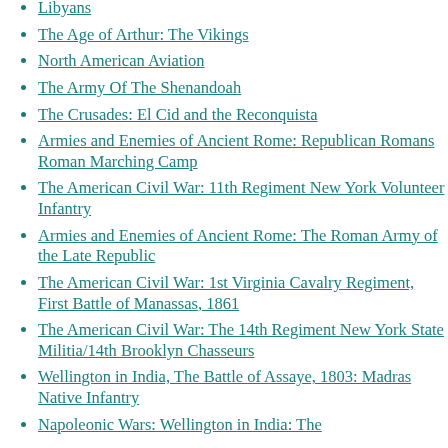Libyans
The Age of Arthur: The Vikings
North American Aviation
The Army Of The Shenandoah
The Crusades: El Cid and the Reconquista
Armies and Enemies of Ancient Rome: Republican Romans Roman Marching Camp
The American Civil War: 11th Regiment New York Volunteer Infantry
Armies and Enemies of Ancient Rome: The Roman Army of the Late Republic
The American Civil War: 1st Virginia Cavalry Regiment, First Battle of Manassas, 1861
The American Civil War: The 14th Regiment New York State Militia/14th Brooklyn Chasseurs
Wellington in India, The Battle of Assaye, 1803: Madras Native Infantry
Napoleonic Wars: Wellington in India: The